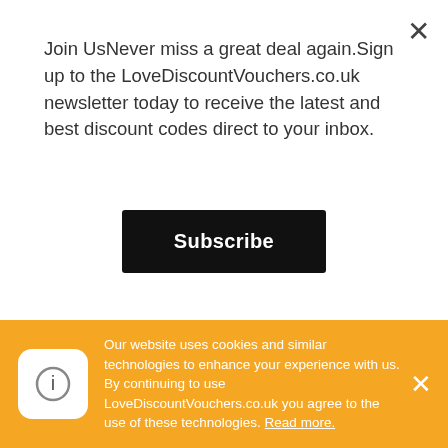Join UsNever miss a great deal again.Sign up to the LoveDiscountVouchers.co.uk newsletter today to receive the latest and best discount codes direct to your inbox.
Subscribe
Stores like Baby Planet often offer Promotional Codes, Voucher Codes, Free Delivery Codes, Money Off Deals, Promotion Codes, Promo Offers, Free Gifts & Printable Vouchers, and if they do – you can be assured the team at LoveDiscountVouchers.co.uk will list every money-saving offer we can find.
Use LoveDiscountVouchers.co.uk to find and share the best money-saving offers Baby
Our website uses cookies and similar technologies to enhance your experience with us. By continuing to use LoveDiscountVouchers.co.uk you agree to the use of these technologies. Read more.